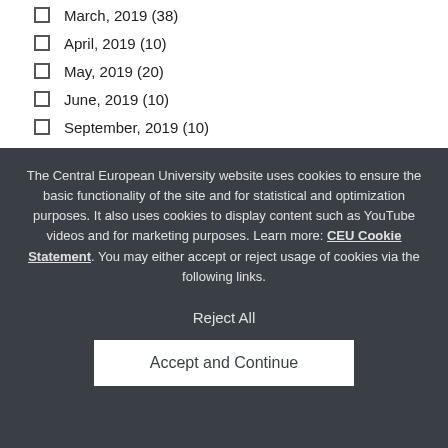March, 2019 (38)
April, 2019 (10)
May, 2019 (20)
June, 2019 (10)
September, 2019 (10)
The Central European University website uses cookies to ensure the basic functionality of the site and for statistical and optimization purposes. It also uses cookies to display content such as YouTube videos and for marketing purposes. Learn more: CEU Cookie Statement. You may either accept or reject usage of cookies via the following links.
Reject All
Accept and Continue